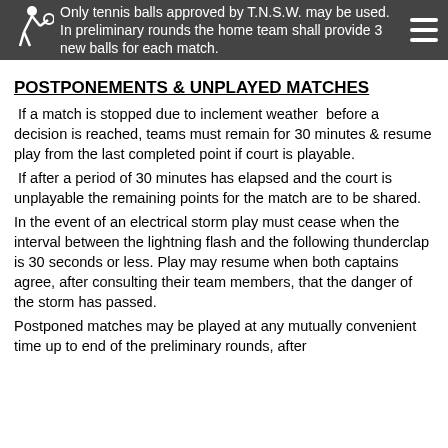Only tennis balls approved by T.N.S.W. may be used. In preliminary rounds the home team shall provide 3 new balls for each match.
POSTPONEMENTS & UNPLAYED MATCHES
If a match is stopped due to inclement weather before a decision is reached, teams must remain for 30 minutes & resume play from the last completed point if court is playable.
If after a period of 30 minutes has elapsed and the court is unplayable the remaining points for the match are to be shared.
In the event of an electrical storm play must cease when the interval between the lightning flash and the following thunderclap is 30 seconds or less. Play may resume when both captains agree, after consulting their team members, that the danger of the storm has passed.
Postponed matches may be played at any mutually convenient time up to end of the preliminary rounds, after